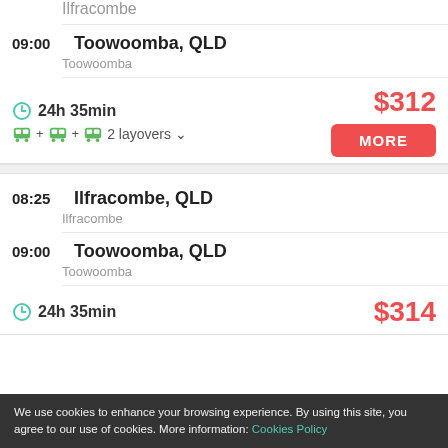Ilfracombe
09:00  Toowoomba, QLD
Toowoomba
24h 35min   $312
2 layovers   MORE
08:25  Ilfracombe, QLD
Ilfracombe
09:00  Toowoomba, QLD
Toowoomba
24h 35min   $314
We use cookies to enhance your browsing experience. By using this site, you agree to our use of cookies. More information: Cookies Policy